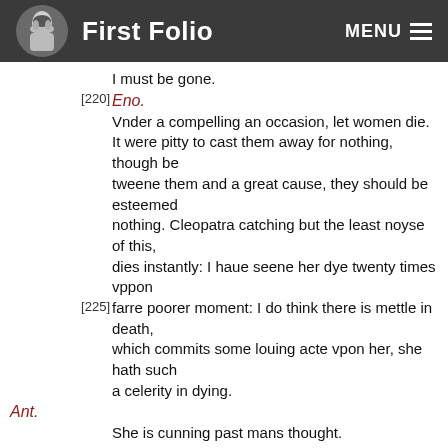First Folio   MENU
I must be gone.
[220] Eno.
Vnder a compelling an occasion, let women die. It were pitty to cast them away for nothing, though be
tweene them and a great cause, they should be esteemed
nothing. Cleopatra catching but the least noyse of this,
dies instantly: I haue seene her dye twenty times vppon
[225] farre poorer moment: I do think there is mettle in death,
which commits some louing acte vpon her, she hath such
a celerity in dying.
Ant.
She is cunning past mans thought.
Eno.
Alacke Sir no, her passions are made of nothing
[230] but the finest part of pure Loue. We cannot cal her winds
and waters, sighes and teares: They are greater